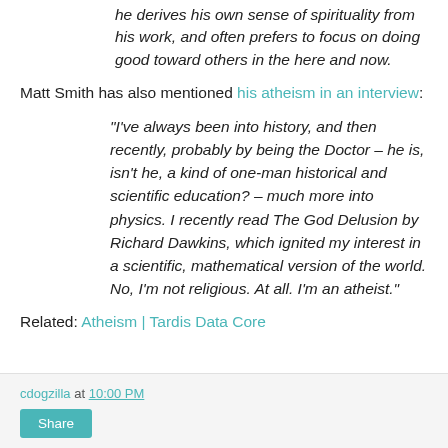he derives his own sense of spirituality from his work, and often prefers to focus on doing good toward others in the here and now.
Matt Smith has also mentioned his atheism in an interview:
"I've always been into history, and then recently, probably by being the Doctor – he is, isn't he, a kind of one-man historical and scientific education? – much more into physics. I recently read The God Delusion by Richard Dawkins, which ignited my interest in a scientific, mathematical version of the world. No, I'm not religious. At all. I'm an atheist."
Related: Atheism | Tardis Data Core
cdogzilla at 10:00 PM  Share